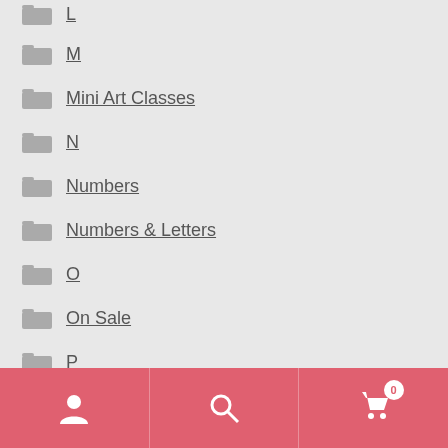L
M
Mini Art Classes
N
Numbers
Numbers & Letters
O
On Sale
P
Paper Mache
Plants
Q